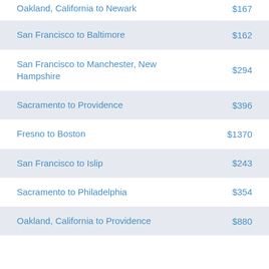Oakland, California to Newark — $167
San Francisco to Baltimore — $162
San Francisco to Manchester, New Hampshire — $294
Sacramento to Providence — $396
Fresno to Boston — $1370
San Francisco to Islip — $243
Sacramento to Philadelphia — $354
Oakland, California to Providence — $880